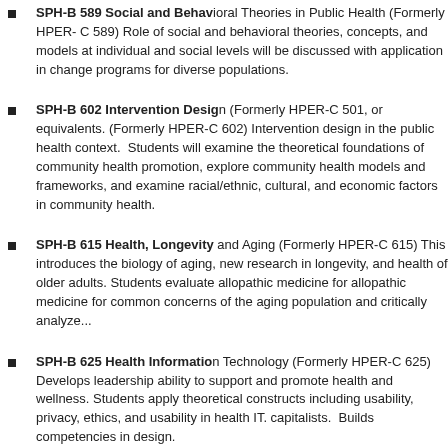SPH-B 589 Social and Behavioral Theories in Public Health (Formerly HPER-C 589) Role of social and behavioral theories, concepts, and models at individual and social levels will be discussed with application in change programs for diverse populations.
SPH-B 602 Intervention Design (Formerly HPER-C 501, or equivalents. (Formerly HPER-C 602) Intervention design in the public health context. Students will examine the theoretical foundations of community health promotion, explore community health models and frameworks, and examine racial/ethnic, cultural, and economic factors in community health.
SPH-B 615 Health, Longevity, and Aging (Formerly HPER-C 615) This introduces the biology of aging, new research in longevity, and health of older adults. Students evaluate allopathic medicine for common concerns of the aging population and critically analyze...
SPH-B 625 Health Information Technology (Formerly HPER-C 625) Develops leadership ability to support and promote health and wellness. Students apply theoretical constructs including usability, privacy, ethics, and usability in health IT. capitalists. Builds competencies in design.